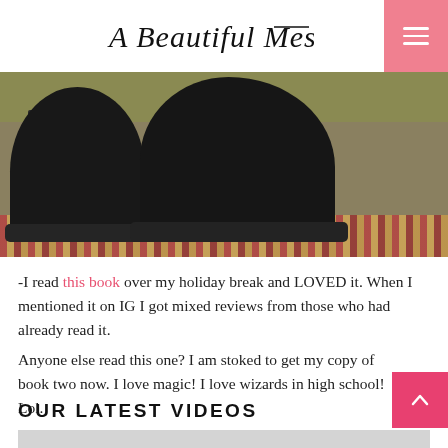A Beautiful Mess
[Figure (photo): Close-up photo of a person wearing black chunky Chelsea boots standing on a patterned rug near an olive green sofa]
-I read this book over my holiday break and LOVED it. When I mentioned it on IG I got mixed reviews from those who had already read it.
Anyone else read this one? I am stoked to get my copy of book two now. I love magic! I love wizards in high school! Lol.
OUR LATEST VIDEOS
[Figure (screenshot): Video preview placeholder, gray rectangle]